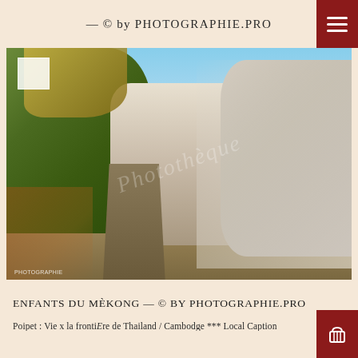— © by Photographie.Pro
[Figure (photo): Outdoor winter/autumn landscape photograph showing a country path lined with frost-covered white trees on the right and green/yellow leafy trees on the left, under a clear blue sky. Watermark text visible in the center. 'Photographie' credit visible bottom-left of photo.]
Enfants du Mèkong — © by Photographie.Pro
Poipet : Vie x la frontiEre de Thailand / Cambodge *** Local Caption